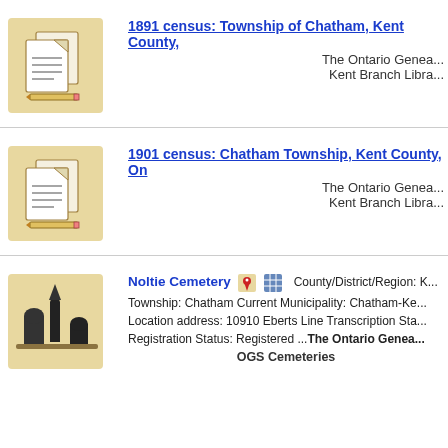[Figure (illustration): Document/transcription icon: two overlapping pages with lines representing text and a pencil, on a tan/beige background]
1891 census: Township of Chatham, Kent County, ... The Ontario Genea... Kent Branch Libra...
[Figure (illustration): Document/transcription icon: two overlapping pages with lines representing text and a pencil, on a tan/beige background]
1901 census: Chatham Township, Kent County, On... The Ontario Genea... Kent Branch Libra...
[Figure (illustration): Cemetery icon: silhouette of gravestones and an obelisk on a tan/beige background]
Noltie Cemetery  County/District/Region: K... Township: Chatham Current Municipality: Chatham-Ke... Location address: 10910 Eberts Line Transcription Sta... Registration Status: Registered ...The Ontario Genea... OGS Cemeteries